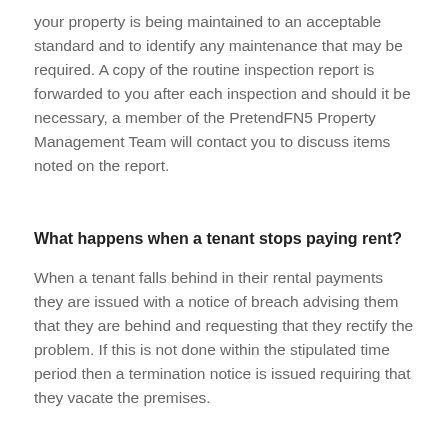your property is being maintained to an acceptable standard and to identify any maintenance that may be required. A copy of the routine inspection report is forwarded to you after each inspection and should it be necessary, a member of the PretendFN5 Property Management Team will contact you to discuss items noted on the report.
What happens when a tenant stops paying rent?
When a tenant falls behind in their rental payments they are issued with a notice of breach advising them that they are behind and requesting that they rectify the problem. If this is not done within the stipulated time period then a termination notice is issued requiring that they vacate the premises.